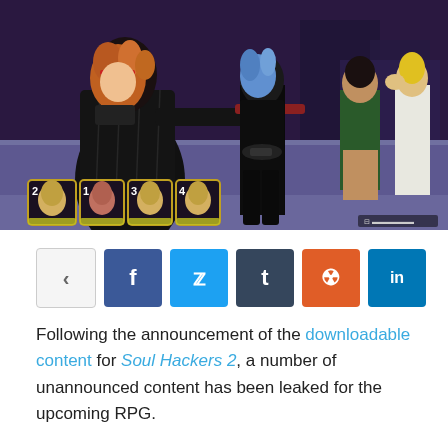[Figure (screenshot): Screenshot from Soul Hackers 2 video game showing anime-style characters in a battle/exploration scene. Foreground character in black striped suit with brown hair, center character with blue hair in black outfit, background characters in green jacket and white suit. Bottom-left shows character portrait UI icons numbered 2-4.]
[Figure (infographic): Social media share bar with share button (arrow icon), Facebook (f), Twitter (bird), Tumblr (t), Reddit (alien), LinkedIn (in) buttons]
Following the announcement of the downloadable content for Soul Hackers 2, a number of unannounced content has been leaked for the upcoming RPG.